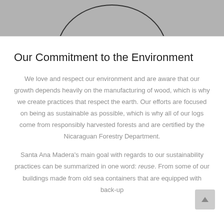[Figure (photo): Gray background image at top of page with a partial circle arc visible at the bottom center]
Our Commitment to the Environment
We love and respect our environment and are aware that our growth depends heavily on the manufacturing of wood, which is why we create practices that respect the earth. Our efforts are focused on being as sustainable as possible, which is why all of our logs come from responsibly harvested forests and are certified by the Nicaraguan Forestry Department.
Santa Ana Madera's main goal with regards to our sustainability practices can be summarized in one word: reuse. From some of our buildings made from old sea containers that are equipped with back-up